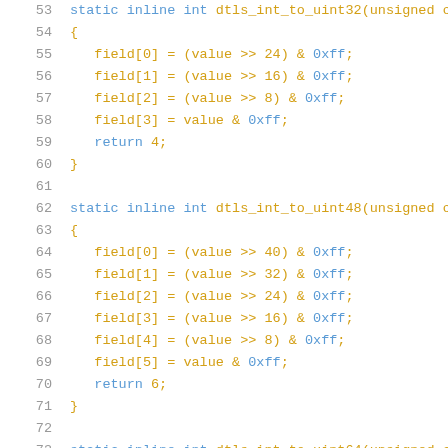Code listing lines 53-74: C static inline functions dtls_int_to_uint32, dtls_int_to_uint48, dtls_int_to_uint64
53  static inline int dtls_int_to_uint32(unsigned ch
54  {
55      field[0] = (value >> 24) & 0xff;
56      field[1] = (value >> 16) & 0xff;
57      field[2] = (value >> 8) & 0xff;
58      field[3] = value & 0xff;
59      return 4;
60  }
61
62  static inline int dtls_int_to_uint48(unsigned ch
63  {
64      field[0] = (value >> 40) & 0xff;
65      field[1] = (value >> 32) & 0xff;
66      field[2] = (value >> 24) & 0xff;
67      field[3] = (value >> 16) & 0xff;
68      field[4] = (value >> 8) & 0xff;
69      field[5] = value & 0xff;
70      return 6;
71  }
72
73  static inline int dtls_int_to_uint64(unsigned ch
74  {